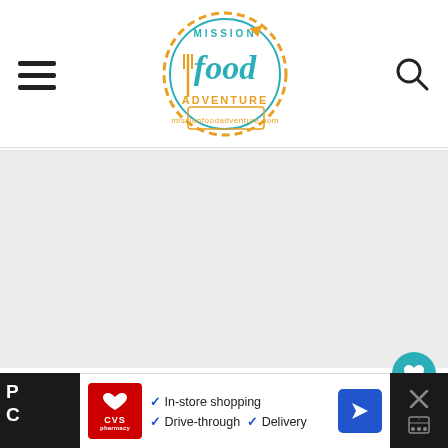[Figure (logo): Mission Food Adventure logo — circular badge with fork/airplane motif in teal and orange]
[Figure (screenshot): Gray advertisement placeholder area]
Clinton Street Baking Company's pancakes with crunchy bananas and cinnamon chili chocolate sauce are exceptional. Cinnamon and cayenne
[Figure (infographic): CVS Pharmacy ad banner: In-store shopping, Drive-through, Delivery options with blue arrow icon]
[Figure (infographic): WHAT'S NEXT arrow — Pajeon (Korean... thumbnail panel]